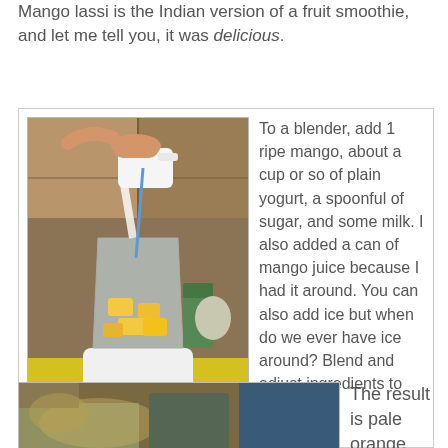Mango lassi is the Indian version of a fruit smoothie, and let me tell you, it was delicious.
[Figure (photo): A person pouring milk or liquid from a white container into a blender filled with mango chunks, on a yellow countertop in a kitchen setting.]
To a blender, add 1 ripe mango, about a cup or so of plain yogurt, a spoonful of sugar, and some milk. I also added a can of mango juice because I had it around. You can also add ice but when do we ever have ice around? Blend and adjust ingredients to taste.
[Figure (photo): Close-up of a blender and kitchen utensils on a countertop, partially visible at the bottom of the page.]
The result is pale orange,